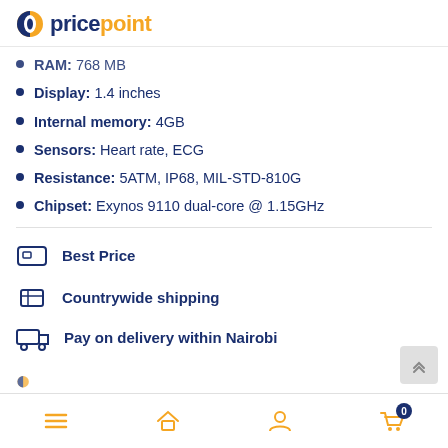pricepoint
RAM: 768 MB
Display: 1.4 inches
Internal memory: 4GB
Sensors: Heart rate, ECG
Resistance: 5ATM, IP68, MIL-STD-810G
Chipset: Exynos 9110 dual-core @ 1.15GHz
Best Price
Countrywide shipping
Pay on delivery within Nairobi